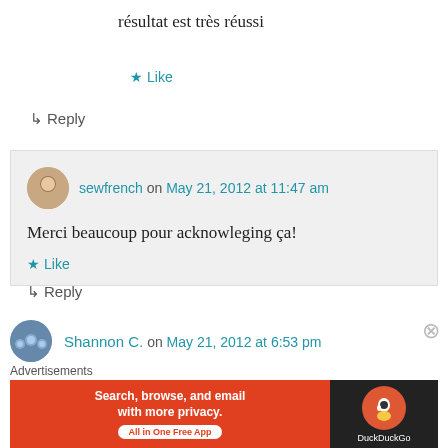résultat est très réussi
★ Like
↳ Reply
sewfrench on May 21, 2012 at 11:47 am
Merci beaucoup pour acknowleging ça!
★ Like
↳ Reply
Shannon C. on May 21, 2012 at 6:53 pm
Advertisements
[Figure (screenshot): DuckDuckGo advertisement banner: Search, browse, and email with more privacy. All in One Free App]